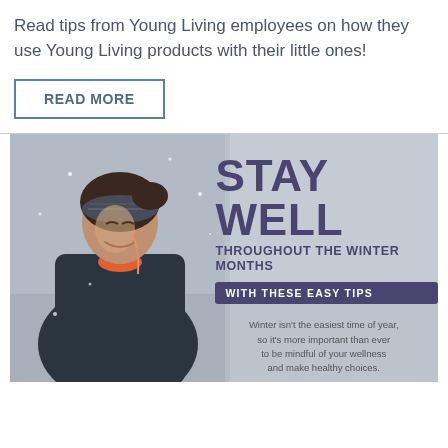Read tips from Young Living employees on how they use Young Living products with their little ones!
READ MORE
[Figure (photo): Promotional banner image showing a smiling woman wearing a headband and earphones in winter outdoor setting with text overlay: STAY WELL THROUGHOUT THE WINTER MONTHS WITH THESE EASY TIPS. Winter isn't the easiest time of year, so it's more important than ever to be mindful of your wellness and make healthy choices.]